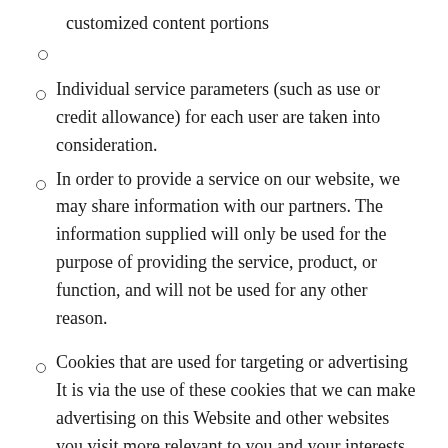customized content portions
Individual service parameters (such as use or credit allowance) for each user are taken into consideration.
In order to provide a service on our website, we may share information with our partners. The information supplied will only be used for the purpose of providing the service, product, or function, and will not be used for any other reason.
Cookies that are used for targeting or advertising It is via the use of these cookies that we can make advertising on this Website and other websites you visit more relevant to you and your interests, restrict the number of